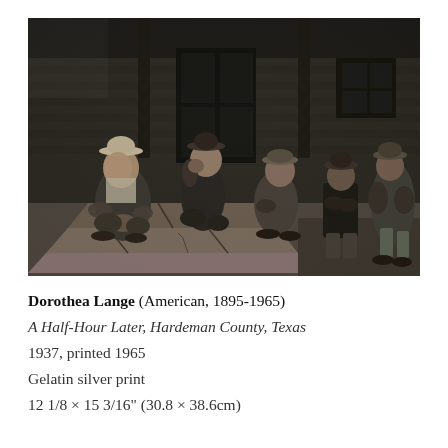[Figure (photo): Black and white photograph by Dorothea Lange showing five men resting on stone steps and a porch in front of a wooden building. One man in overalls and a cowboy hat crouches on the left, another crouches beside him, and three more sit on the porch steps to the right. The scene conveys weariness and hard times during the Great Depression era.]
Dorothea Lange (American, 1895-1965)
A Half-Hour Later, Hardeman County, Texas
1937, printed 1965
Gelatin silver print
12 1/8 × 15 3/16" (30.8 × 38.6cm)